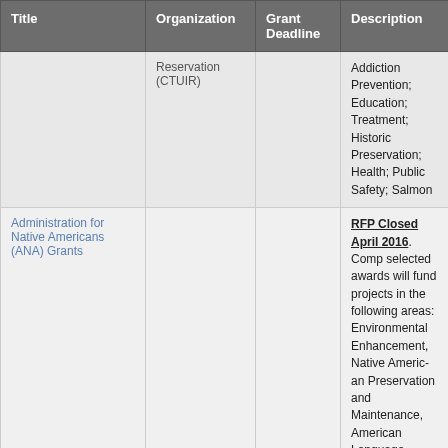| Title | Organization | Grant Deadline | Description |
| --- | --- | --- | --- |
|  | Reservation (CTUIR) |  | Addiction Prevention; Education; Treatment; Historic Preservation; Health; Public Safety; Salmon... |
| Administration for Native Americans (ANA) Grants | ANA, DHS |  | RFP Closed April 2016. Com... selected awards will fund proj... the following areas: Environm... Enhancement, Native America... Preservation and Maintenanc... American Language Preserva... Maintenance–Esther Martinez... Social and Economic Develop... and Sustainable Employment... Development Strategies. ANA... available in short-term develo... 12, 24, 36, and 60 months. |
|  |  |  | Applications are accepted on a continuous basis. OSI partners with cons... organizations in the Northeas... networks of protected lands n... preserve plant and animal div... |